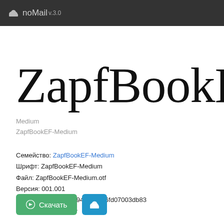noMail v.3.0
ZapfBookEF-Med:
Medium
ZapfBookEF-Medium
Семейство: ZapfBookEF-Medium
Шрифт: ZapfBookEF-Medium
Файл: ZapfBookEF-Medium.otf
Версия: 001.001
MD5: 010c7b8dd888941e4b6c6fd07003db83
Размер: 43.64 Кбайт
Скачать